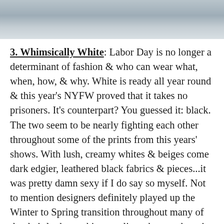[Figure (photo): Photograph of an outdoor scene, appearing to show a textured surface such as concrete or pavement, grayish-blue tones, cropped at the top of the page.]
3. Whimsically White: Labor Day is no longer a determinant of fashion & who can wear what, when, how, & why. White is ready all year round & this year's NYFW proved that it takes no prisoners. It's counterpart? You guessed it: black. The two seem to be nearly fighting each other throughout some of the prints from this years' shows. With lush, creamy whites & beiges come dark edgier, leathered black fabrics & pieces...it was pretty damn sexy if I do say so myself. Not to mention designers definitely played up the Winter to Spring transition throughout many of the their looks, making our lives that much easier when the time comes. Don't get me wrong, black & white weren't the only color pairings making major headway, they threw in some